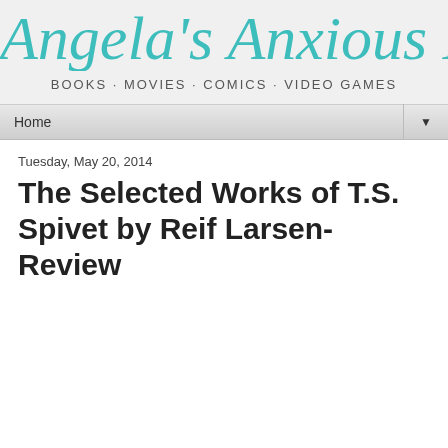Angela's Anxious Life
BOOKS · MOVIES · COMICS · VIDEO GAMES
Home ▼
Tuesday, May 20, 2014
The Selected Works of T.S. Spivet by Reif Larsen- Review